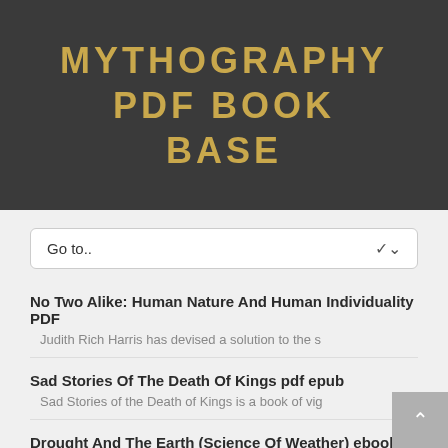MYTHOGRAPHY PDF BOOK BASE
No Two Alike: Human Nature And Human Individuality PDF
Judith Rich Harris has devised a solution to the s
Sad Stories Of The Death Of Kings pdf epub
Sad Stories of the Death of Kings is a book of vig
Drought And The Earth (Science Of Weather) ebook